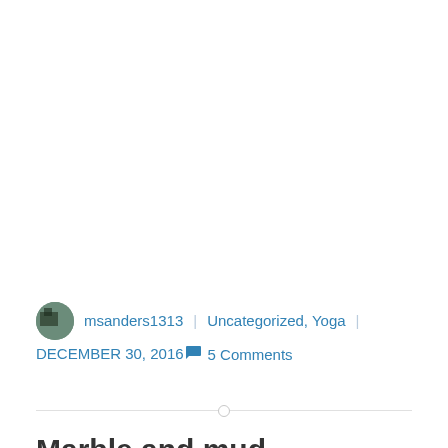msanders1313 | Uncategorized, Yoga | DECEMBER 30, 2016 | 💬 5 Comments
Marble and mud